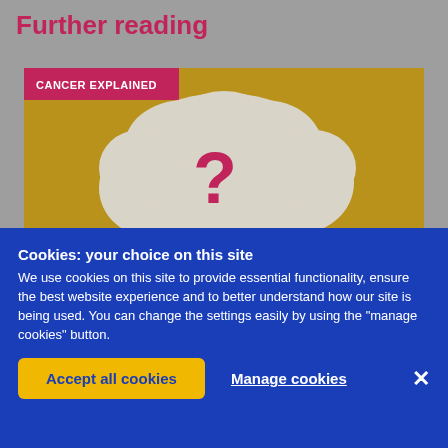Further reading
[Figure (illustration): Cancer Explained article card with gold background, a pink label reading 'CANCER EXPLAINED', and a cloud thought bubble containing a large pink question mark on a gold background.]
Cookies: your choice on this site
We use cookies on this site to provide essential functionality, ensure the best website experience and to better understand how our site is being used. You can change the settings easily by using the "manage cookies" button.
Accept all cookies
Manage cookies